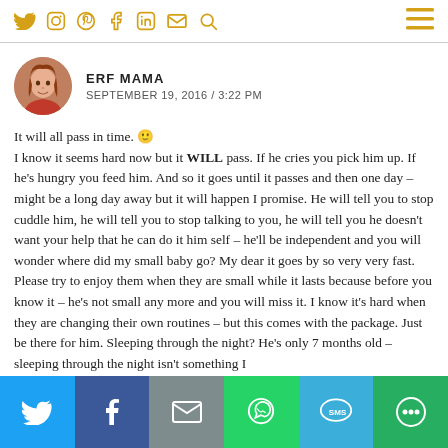Navigation bar with social icons: Twitter, Instagram, Pinterest, Facebook, LinkedIn, Email, Search, and hamburger menu
ERF MAMA
SEPTEMBER 19, 2016 / 3:22 PM
It will all pass in time. 🙂
I know it seems hard now but it WILL pass. If he cries you pick him up. If he's hungry you feed him. And so it goes until it passes and then one day – might be a long day away but it will happen I promise. He will tell you to stop cuddle him, he will tell you to stop talking to you, he will tell you he doesn't want your help that he can do it him self – he'll be independent and you will wonder where did my small baby go? My dear it goes by so very very fast. Please try to enjoy them when they are small while it lasts because before you know it – he's not small any more and you will miss it. I know it's hard when they are changing their own routines – but this comes with the package. Just be there for him. Sleeping through the night? He's only 7 months old – sleeping through the night isn't something I
Share bar: Twitter, Facebook, Email, WhatsApp, SMS, More